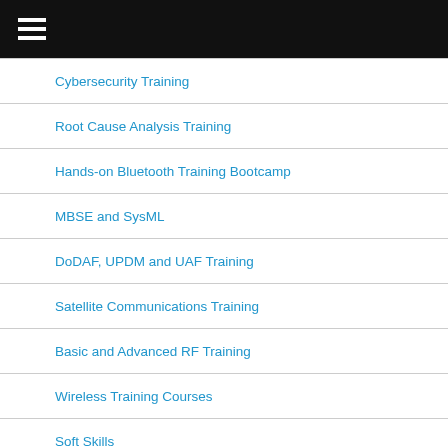Navigation menu
Cybersecurity Training
Root Cause Analysis Training
Hands-on Bluetooth Training Bootcamp
MBSE and SysML
DoDAF, UPDM and UAF Training
Satellite Communications Training
Basic and Advanced RF Training
Wireless Training Courses
Soft Skills
Leadership (for the Digital Era)
Power and Energy
Reliability Engineering